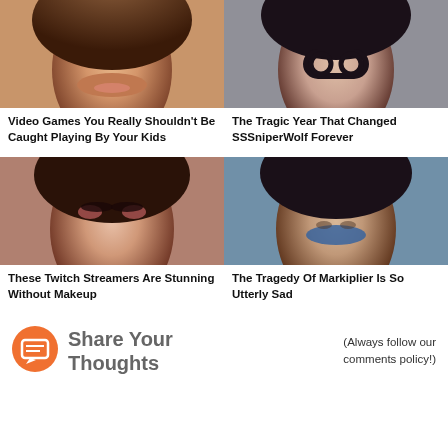[Figure (photo): Close-up portrait of a young woman with brown hair and glossy lips, appears to be a digital or stylized photo]
[Figure (photo): Portrait of a young woman with dark hair wearing large round glasses]
Video Games You Really Shouldn't Be Caught Playing By Your Kids
The Tragic Year That Changed SSSniperWolf Forever
[Figure (photo): Portrait of a young woman with dark hair and dramatic makeup with rosy cheeks]
[Figure (photo): Portrait of a young man with dark hair and beard stubble wearing a blue shirt]
These Twitch Streamers Are Stunning Without Makeup
The Tragedy Of Markiplier Is So Utterly Sad
Share Your Thoughts Below
(Always follow our comments policy!)